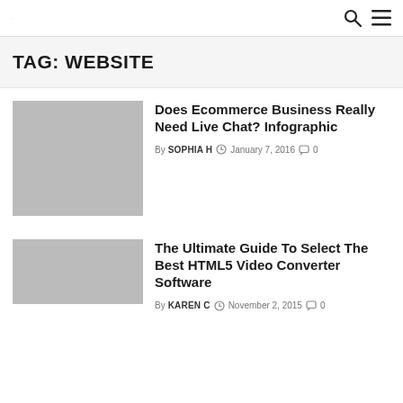· 🔍 ☰
TAG: WEBSITE
[Figure (photo): Gray placeholder thumbnail image for first blog post]
Does Ecommerce Business Really Need Live Chat? Infographic
By SOPHIA H  🕐 January 7, 2016  🗨 0
[Figure (photo): Gray placeholder thumbnail image for second blog post]
The Ultimate Guide To Select The Best HTML5 Video Converter Software
By KAREN C  🕐 November 2, 2015  🗨 0